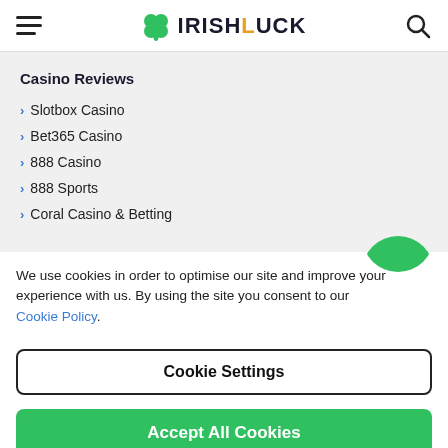IRISHLUCK
Casino Reviews
Slotbox Casino
Bet365 Casino
888 Casino
888 Sports
Coral Casino & Betting
We use cookies in order to optimise our site and improve your experience with us. By using the site you consent to our Cookie Policy.
Cookie Settings
Accept All Cookies